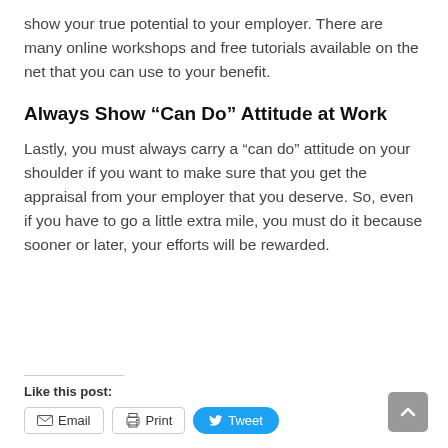show your true potential to your employer. There are many online workshops and free tutorials available on the net that you can use to your benefit.
Always Show “Can Do” Attitude at Work
Lastly, you must always carry a “can do” attitude on your shoulder if you want to make sure that you get the appraisal from your employer that you deserve. So, even if you have to go a little extra mile, you must do it because sooner or later, your efforts will be rewarded.
Like this post: